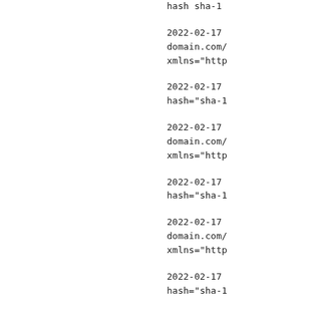hash  sha-1

2022-02-17
domain.com/
xmlns="http

2022-02-17
hash="sha-1

2022-02-17
domain.com/
xmlns="http

2022-02-17
hash="sha-1

2022-02-17
domain.com/
xmlns="http

2022-02-17
hash="sha-1

2022-02-17
domain.com/
xmlns="http